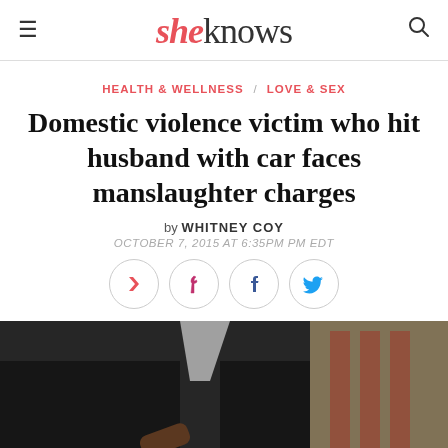sheknows
HEALTH & WELLNESS / LOVE & SEX
Domestic violence victim who hit husband with car faces manslaughter charges
by WHITNEY COY
OCTOBER 7, 2015 AT 6:35PM PM EDT
[Figure (other): Social sharing icons: Flipboard (red), Pinterest (red), Facebook (blue), Twitter (blue), each in a circle button]
[Figure (photo): Close-up photo of a judge in black robes holding a gavel, with an American flag blurred in the background]